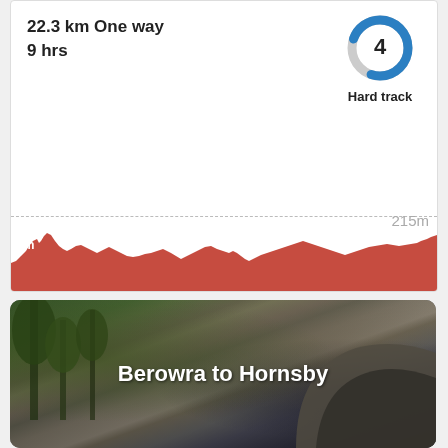22.3 km One way
9 hrs
[Figure (other): Difficulty rating badge: circular donut chart, blue and grey, with number 4 in center, labeled 'Hard track']
[Figure (area-chart): Elevation profile chart showing terrain from start to finish. Orange/red filled area representing elevation profile along the 22.3km trail. Dashed line indicating 215m elevation. Label '1m' at left start.]
[Figure (photo): Photograph of a bushland trail with sandstone rock formations and trees, with text overlay 'Berowra to Hornsby']
Berowra to Hornsby